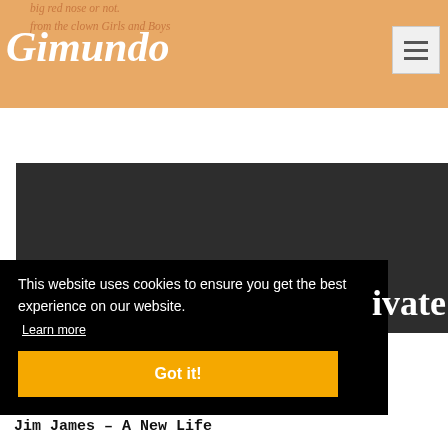big red nose or not.
from the clown Girls and Boys
Gimundo
[Figure (screenshot): Hamburger menu button (three horizontal lines) in a light gray box]
[Figure (screenshot): Dark gray/charcoal rectangular content area below the white gap]
This website uses cookies to ensure you get the best experience on our website.
Learn more
Got it!
ivate
Jim James – A New Life